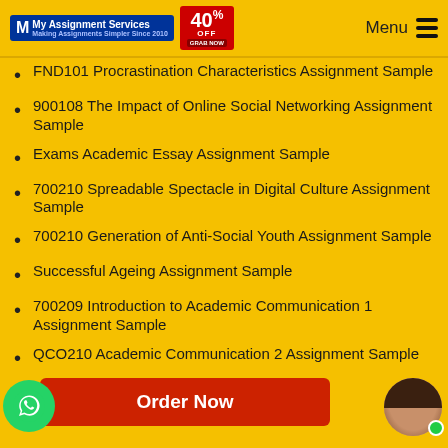My Assignment Services — 40% OFF — Menu
FND101 Procrastination Characteristics Assignment Sample
900108 The Impact of Online Social Networking Assignment Sample
Exams Academic Essay Assignment Sample
700210 Spreadable Spectacle in Digital Culture Assignment Sample
700210 Generation of Anti-Social Youth Assignment Sample
Successful Ageing Assignment Sample
700209 Introduction to Academic Communication 1 Assignment Sample
QCO210 Academic Communication 2 Assignment Sample